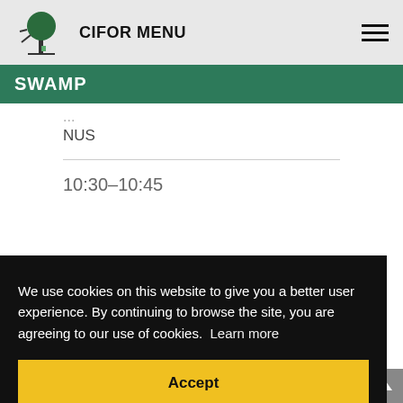CIFOR MENU
SWAMP
NUS
10:30–10:45
We use cookies on this website to give you a better user experience. By continuing to browse the site, you are agreeing to our use of cookies. Learn more
Accept
HRR, IR